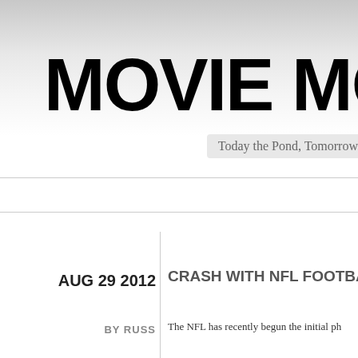MOVIE MOVIE
Today the Pond, Tomorrow
AUG 29 2012
BY RUSS
CRASH WITH NFL FOOTBA
The NFL has recently begun the initial ph